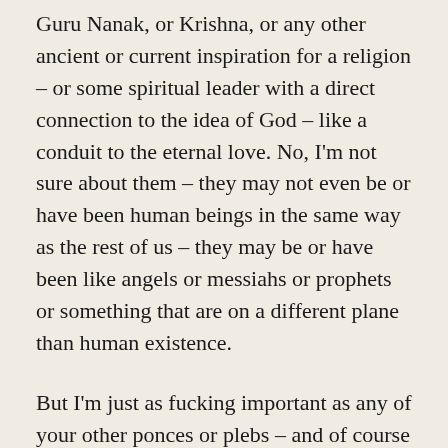Guru Nanak, or Krishna, or any other ancient or current inspiration for a religion – or some spiritual leader with a direct connection to the idea of God – like a conduit to the eternal love. No, I'm not sure about them – they may not even be or have been human beings in the same way as the rest of us – they may be or have been like angels or messiahs or prophets or something that are on a different plane than human existence.
But I'm just as fucking important as any of your other ponces or plebs – and of course to me, I am the most important. (did you notice that then – I'm writing a strong sentence – telling the world, the universe even, that I am as important as any other human being (with the